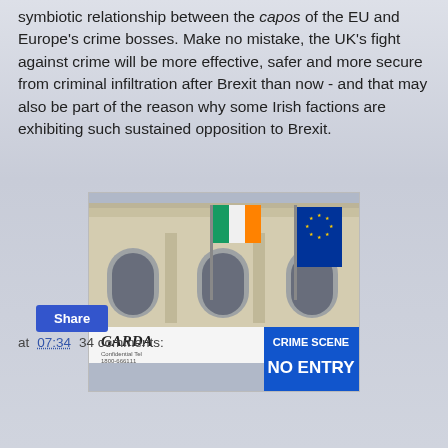symbiotic relationship between the capos of the EU and Europe's crime bosses. Make no mistake, the UK's fight against crime will be more effective, safer and more secure from criminal infiltration after Brexit than now - and that may also be part of the reason why some Irish factions are exhibiting such sustained opposition to Brexit.
[Figure (photo): Photo of a grand stone building with arched windows and ornate facade. An Irish tricolor flag and an EU flag are visible. In the foreground is a white banner reading 'GARDA Confidential Tel 1800-666111' and a blue banner reading 'CRIME SCENE NO ENTRY'.]
at 07:34   34 comments:
Share